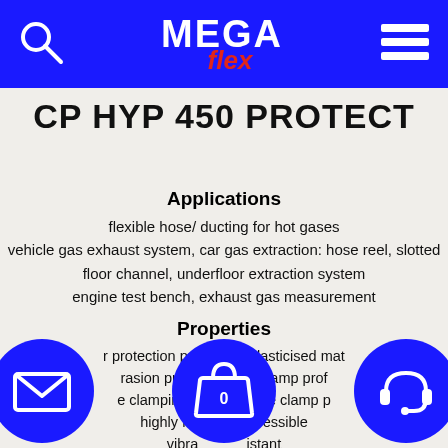MEGA flex
CP HYP 450 PROTECT
Applications
flexible hose/ ducting for hot gases
vehicle gas exhaust system, car gas extraction: hose reel, slotted floor channel, underfloor extraction system
engine test bench, exhaust gas measurement
Properties
r protection prof... f elasticised mat...
rasion protec... al clamp prof...
e clamping o... n the clamp p...
highly fl... pressible
vibra... istant